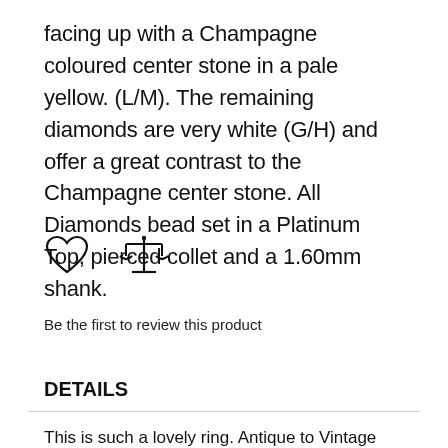facing up with a Champagne coloured center stone in a pale yellow. (L/M). The remaining diamonds are very white (G/H) and offer a great contrast to the Champagne center stone. All Diamonds bead set in a Platinum Top, pierced collet and a 1.60mm shank.
[Figure (illustration): Heart icon (outline) and balance/scales icon side by side]
Be the first to review this product
DETAILS
This is such a lovely ring. Antique to Vintage